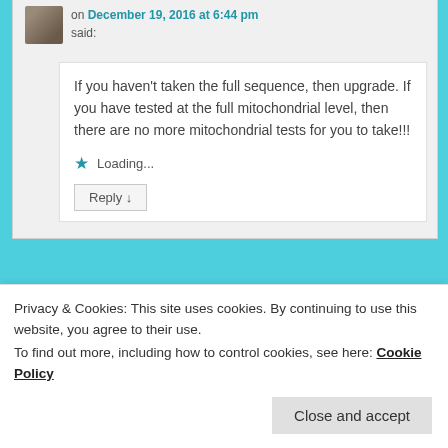on December 19, 2016 at 6:44 pm said:
If you haven't taken the full sequence, then upgrade. If you have tested at the full mitochondrial level, then there are no more mitochondrial tests for you to take!!!
Loading...
Reply ↓
Privacy & Cookies: This site uses cookies. By continuing to use this website, you agree to their use.
To find out more, including how to control cookies, see here: Cookie Policy
Close and accept